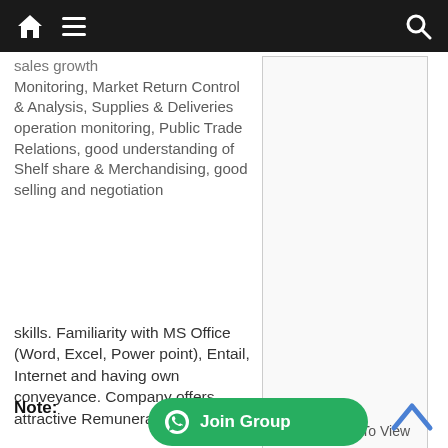Navigation bar with home, menu, and search icons
sales growth Monitoring, Market Return Control & Analysis, Supplies & Deliveries operation monitoring, Public Trade Relations, good understanding of Shelf share & Merchandising, good selling and negotiation skills. Familiarity with MS Office (Word, Excel, Power point), Entail, Internet and having own conveyance. Company offers attractive Remuneration.
[Figure (photo): Image placeholder with text 'Click Picture To View']
Note:
[Figure (other): Green 'Join Group' WhatsApp button]